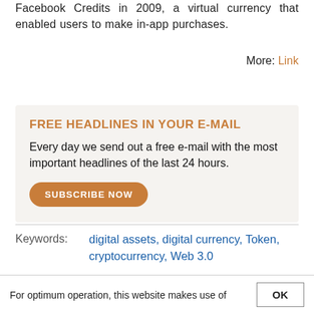Facebook Credits in 2009, a virtual currency that enabled users to make in-app purchases.
More: Link
FREE HEADLINES IN YOUR E-MAIL
Every day we send out a free e-mail with the most important headlines of the last 24 hours.
SUBSCRIBE NOW
Keywords: digital assets, digital currency, Token, cryptocurrency, Web 3.0
Categories: DeFi & Crypto & Web3
Countries: For optimum operation, this website makes use of
For optimum operation, this website makes use of
OK